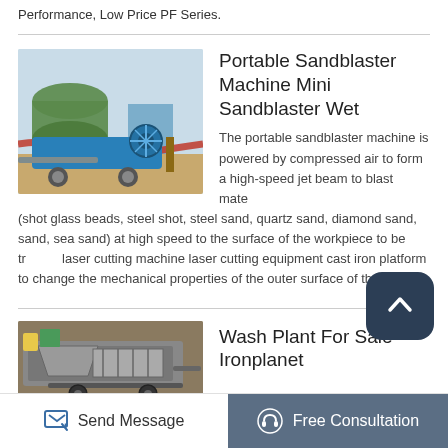Performance, Low Price PF Series.
[Figure (photo): Blue industrial portable sandblaster machine with large cylindrical tanks and conveyor components outdoors on sandy terrain]
Portable Sandblaster Machine Mini Sandblaster Wet
The portable sandblaster machine is powered by compressed air to form a high-speed jet beam to blast material (shot glass beads, steel shot, steel sand, quartz sand, diamond sand, sand, sea sand) at high speed to the surface of the workpiece to be treated laser cutting machine laser cutting equipment cast iron platform to change the mechanical properties of the outer surface of the.
[Figure (photo): Wash plant equipment for sale, industrial machinery on trailer]
Wash Plant For Sale Ironplanet
Send Message
Free Consultation